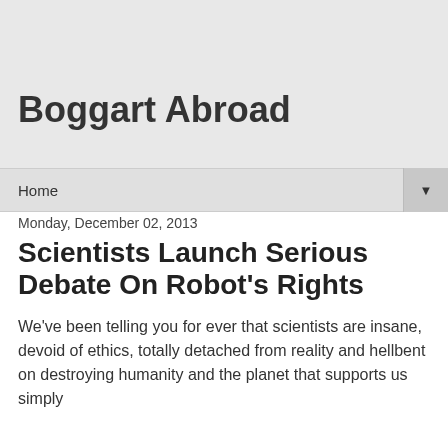Boggart Abroad
Home
Monday, December 02, 2013
Scientists Launch Serious Debate On Robot's Rights
We've been telling you for ever that scientists are insane, devoid of ethics, totally detached from reality and hellbent on destroying humanity and the planet that supports us simply